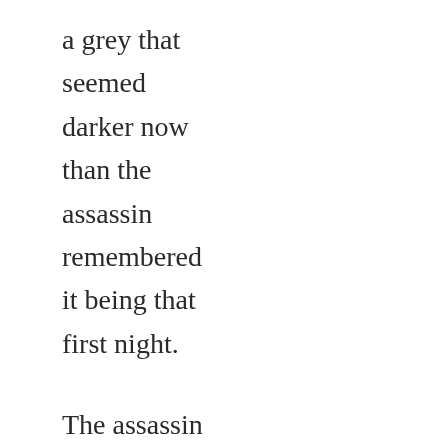a grey that seemed darker now than the assassin remembered it being that first night.

The assassin could not understand what was said, the arguments